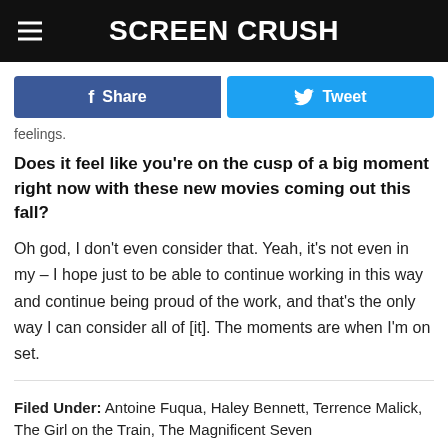SCREEN CRUSH
f Share   Tweet
feelings.
Does it feel like you're on the cusp of a big moment right now with these new movies coming out this fall?
Oh god, I don't even consider that. Yeah, it's not even in my – I hope just to be able to continue working in this way and continue being proud of the work, and that's the only way I can consider all of [it]. The moments are when I'm on set.
Filed Under: Antoine Fuqua, Haley Bennett, Terrence Malick, The Girl on the Train, The Magnificent Seven
Categories: Interviews, Movie News